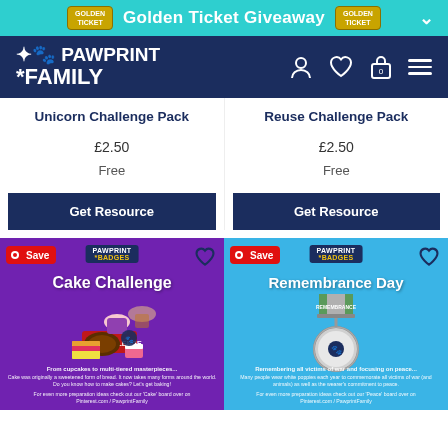Golden Ticket Giveaway
[Figure (logo): Pawprint Family logo with navigation icons]
Unicorn Challenge Pack
£2.50
Free
Get Resource
Reuse Challenge Pack
£2.50
Free
Get Resource
[Figure (photo): Cake Challenge badge card with purple background showing cake-themed enamel pin badge]
[Figure (photo): Remembrance Day badge card with blue background showing medal-themed enamel pin badge]